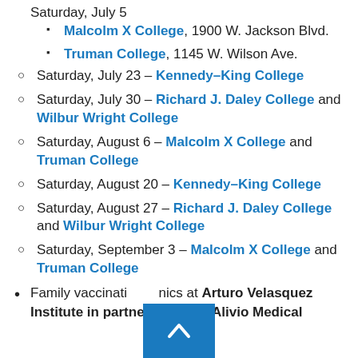Saturday, July 5
Malcolm X College, 1900 W. Jackson Blvd.
Truman College, 1145 W. Wilson Ave.
Saturday, July 23 – Kennedy–King College
Saturday, July 30 – Richard J. Daley College and Wilbur Wright College
Saturday, August 6 – Malcolm X College and Truman College
Saturday, August 20 – Kennedy–King College
Saturday, August 27 – Richard J. Daley College and Wilbur Wright College
Saturday, September 3 – Malcolm X College and Truman College
Family vaccination clinics at Arturo Velasquez Institute in partnership with Alivio Medical